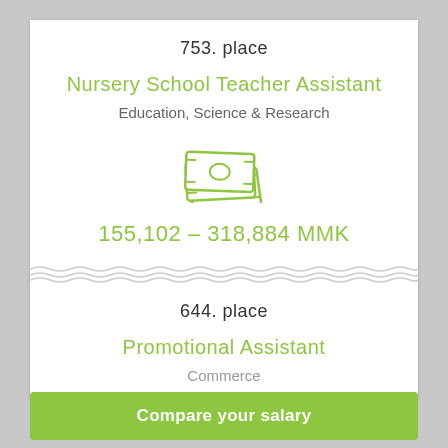753. place
Nursery School Teacher Assistant
Education, Science & Research
[Figure (illustration): Green icon of stacked money/cash bills]
155,102 – 318,884 MMK
644. place
Promotional Assistant
Commerce
Compare your salary